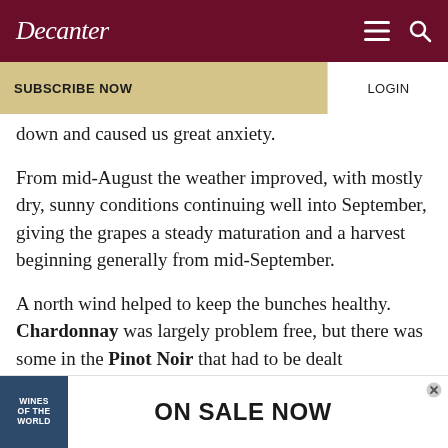Decanter
SUBSCRIBE NOW | LOGIN
down and caused us great anxiety.
From mid-August the weather improved, with mostly dry, sunny conditions continuing well into September, giving the grapes a steady maturation and a harvest beginning generally from mid-September.
A north wind helped to keep the bunches healthy. Chardonnay was largely problem free, but there was some in the Pinot Noir that had to be dealt
[Figure (infographic): Advertisement banner: Wines of the World book cover with text ON SALE NOW and a close/X button]